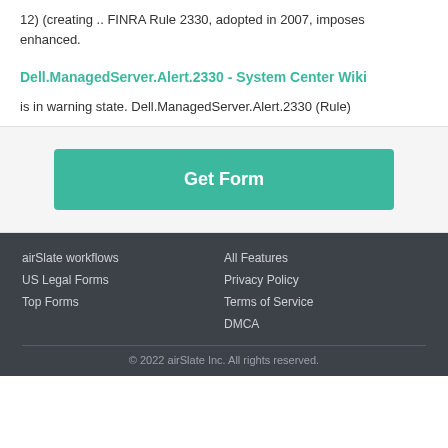12) (creating .. FINRA Rule 2330, adopted in 2007, imposes enhanced.
Dell.ManagedServer.Alert.2330 - System Center Wiki
is in warning state. Dell.ManagedServer.Alert.2330 (Rule)
Get Form
airSlate workflows
US Legal Forms
Top Forms
All Features
Privacy Policy
Terms of Service
DMCA
© 2022 airSlate Inc. All rights reserved.